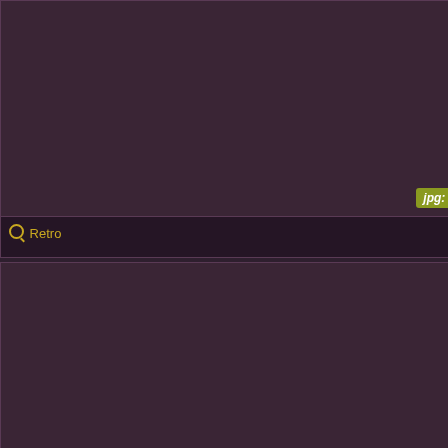[Figure (screenshot): Dark brownish-purple image panel, top-left, with badge showing jpg: 20]
Retro
[Figure (screenshot): Dark brownish-purple image panel, top-center, with badge showing jpg: 81]
Vintage mixed , Vintage mix , Vintage matures ,
[Figure (screenshot): Dark brownish-purple image panel, top-right, partially visible]
Vint... Vint...
[Figure (screenshot): Dark brownish-purple image panel, bottom-left]
[Figure (screenshot): Dark brownish-purple image panel, bottom-center]
[Figure (screenshot): Dark brownish-purple image panel, bottom-right, partially visible]